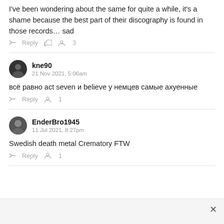I've been wondering about the same for quite a while, it's a shame because the best part of their discography is found in those records… sad
Reply  👍 3
kne90
21 Nov 2021, 5:06am
всё равно act seven и believe у немцев самые ахуенные
Reply  👍 1
EnderBro1945
11 Jul 2021, 8:27pm
Swedish death metal Crematory FTW
Reply  👍 1